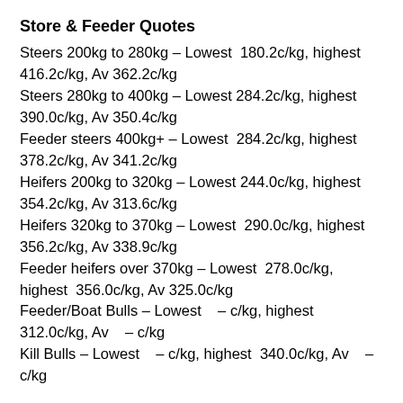Store & Feeder Quotes
Steers 200kg to 280kg – Lowest 180.2c/kg, highest 416.2c/kg, Av 362.2c/kg
Steers 280kg to 400kg – Lowest 284.2c/kg, highest 390.0c/kg, Av 350.4c/kg
Feeder steers 400kg+ – Lowest 284.2c/kg, highest 378.2c/kg, Av 341.2c/kg
Heifers 200kg to 320kg – Lowest 244.0c/kg, highest 354.2c/kg, Av 313.6c/kg
Heifers 320kg to 370kg – Lowest 290.0c/kg, highest 356.2c/kg, Av 338.9c/kg
Feeder heifers over 370kg – Lowest 278.0c/kg, highest 356.0c/kg, Av 325.0c/kg
Feeder/Boat Bulls – Lowest  – c/kg, highest 312.0c/kg, Av  – c/kg
Kill Bulls – Lowest  – c/kg, highest 340.0c/kg, Av  – c/kg